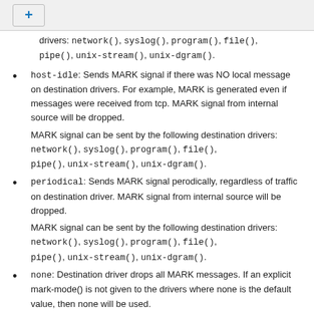+
drivers: network(), syslog(), program(), file(), pipe(), unix-stream(), unix-dgram().
host-idle: Sends MARK signal if there was NO local message on destination drivers. For example, MARK is generated even if messages were received from tcp. MARK signal from internal source will be dropped.
MARK signal can be sent by the following destination drivers: network(), syslog(), program(), file(), pipe(), unix-stream(), unix-dgram().
periodical: Sends MARK signal perodically, regardless of traffic on destination driver. MARK signal from internal source will be dropped.
MARK signal can be sent by the following destination drivers: network(), syslog(), program(), file(), pipe(), unix-stream(), unix-dgram().
none: Destination driver drops all MARK messages. If an explicit mark-mode() is not given to the drivers where none is the default value, then none will be used.